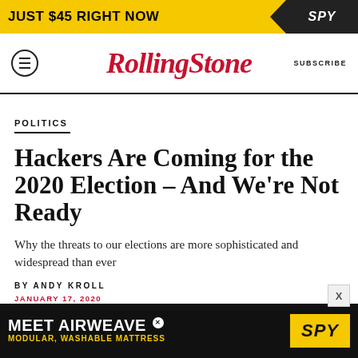[Figure (other): Yellow advertisement banner reading JUST $45 RIGHT NOW with SPY logo]
RollingStone — SUBSCRIBE
POLITICS
Hackers Are Coming for the 2020 Election – And We're Not Ready
Why the threats to our elections are more sophisticated and widespread than ever
BY ANDY KROLL
JANUARY 17, 2020
[Figure (other): Black advertisement banner: MEET AIRWEAVE MODULAR, WASHABLE MATTRESS with SPY logo in yellow]